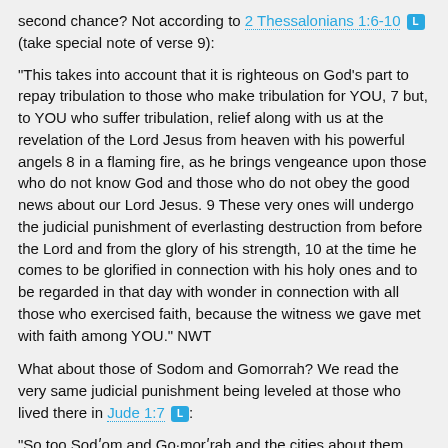second chance? Not according to 2 Thessalonians 1:6-10 [L] (take special note of verse 9):
"This takes into account that it is righteous on God's part to repay tribulation to those who make tribulation for YOU, 7 but, to YOU who suffer tribulation, relief along with us at the revelation of the Lord Jesus from heaven with his powerful angels 8 in a flaming fire, as he brings vengeance upon those who do not know God and those who do not obey the good news about our Lord Jesus. 9 These very ones will undergo the judicial punishment of everlasting destruction from before the Lord and from the glory of his strength, 10 at the time he comes to be glorified in connection with his holy ones and to be regarded in that day with wonder in connection with all those who exercised faith, because the witness we gave met with faith among YOU." NWT
What about those of Sodom and Gomorrah? We read the very same judicial punishment being leveled at those who lived there in Jude 1:7 [L]:
"So too Sodʹom and Go·morʹrah and the cities about them, after they in the same manner as the foregoing ones had committed fornication excessively and gone out after flesh for unnatural use, are placed before [us] as a [warning] example by undergoing the judicial